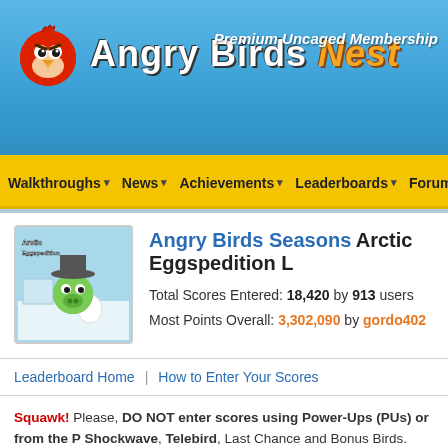Angry Birds Nest — Premium Uncaged Membership
Walkthroughs
News
Achievements
Leaderboards
Forums
Angry Birds Seasons Arctic Eggspedition L
Total Scores Entered: 18,420 by 913 users
Most Points Overall: 3,302,090 by gordo402
Leaderboard Home | How to Enter Your Scores
Squawk! Please, DO NOT enter scores using Power-Ups (PUs) or from the P Shockwave, Telebird, Last Chance and Bonus Birds. Also, scores from modified of any AB games will not be allowed in this leaderboard.
| Rank | Nickname | Total Score |
| --- | --- | --- |
| 1 | gordo402 🐷 | 3,302,090 |